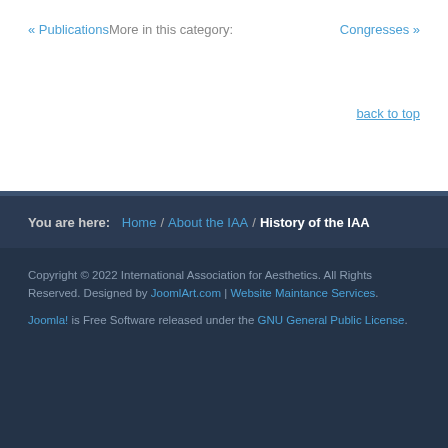« Publications  More in this category:  Congresses »
back to top
You are here:  Home /  About the IAA /  History of the IAA
Copyright © 2022 International Association for Aesthetics. All Rights Reserved. Designed by JoomlArt.com | Website Maintance Services. Joomla! is Free Software released under the GNU General Public License.